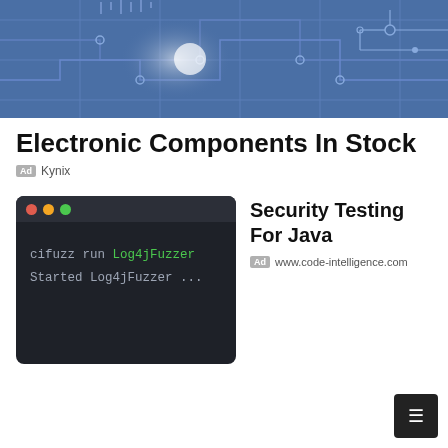[Figure (illustration): Blue circuit board / electronics themed banner with glowing nodes and circuit traces on a dark blue background]
Electronic Components In Stock
Ad  Kynix
[Figure (screenshot): Dark-themed code terminal window showing: cifuzz run Log4jFuzzer / Started Log4jFuzzer ...]
Security Testing For Java
Ad  www.code-intelligence.com